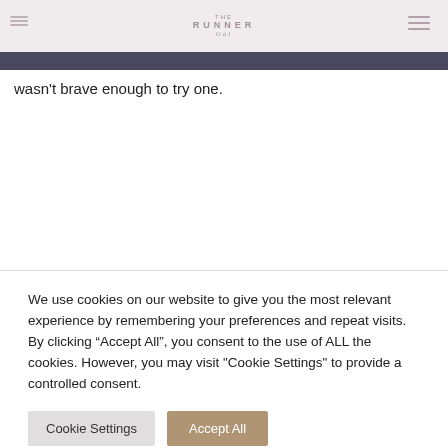THE RUNNER GAL — website header with logo and navigation
wasn't brave enough to try one.
We use cookies on our website to give you the most relevant experience by remembering your preferences and repeat visits. By clicking “Accept All”, you consent to the use of ALL the cookies. However, you may visit "Cookie Settings" to provide a controlled consent.